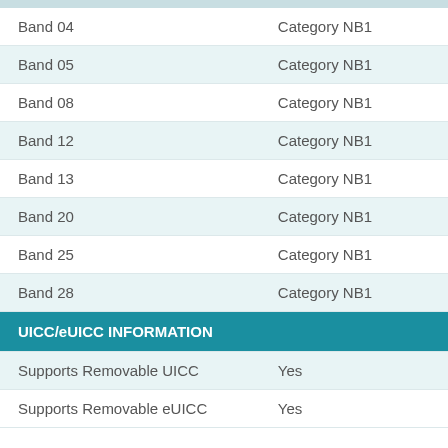|  |  |
| --- | --- |
| Band 04 | Category NB1 |
| Band 05 | Category NB1 |
| Band 08 | Category NB1 |
| Band 12 | Category NB1 |
| Band 13 | Category NB1 |
| Band 20 | Category NB1 |
| Band 25 | Category NB1 |
| Band 28 | Category NB1 |
| UICC/eUICC INFORMATION |  |
| Supports Removable UICC | Yes |
| Supports Removable eUICC | Yes |